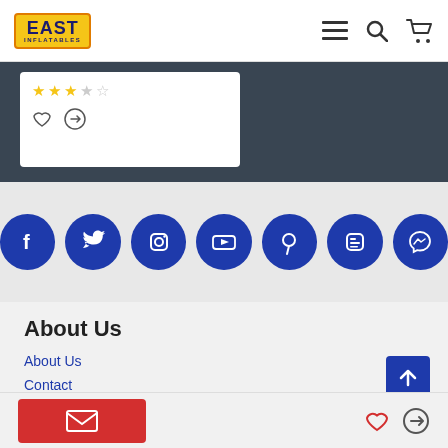EAST INFLATABLES - navigation header with logo, menu, search, and cart icons
[Figure (screenshot): Partial product card with star ratings and action icons on dark background]
[Figure (infographic): Social media icon row: Facebook, Twitter, Instagram, YouTube, Pinterest, Blogger, Messenger - all blue circles on light grey background]
About Us
About Us
Contact
Payment
How to order
Catalog
Color
Email button and action icons